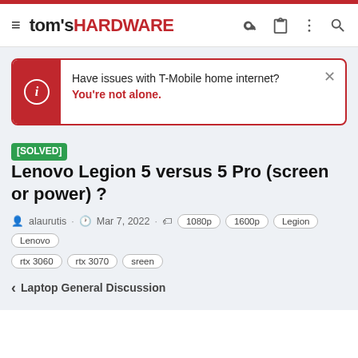tom's HARDWARE
Have issues with T-Mobile home internet? You're not alone.
[SOLVED] Lenovo Legion 5 versus 5 Pro (screen or power) ?
alaurutis · Mar 7, 2022 · 1080p 1600p Legion Lenovo rtx 3060 rtx 3070 sreen
< Laptop General Discussion